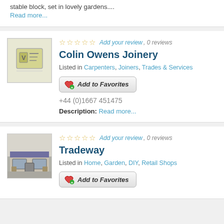stable block, set in lovely gardens....
Read more...
[Figure (illustration): Placeholder thumbnail image with a document/card icon for Colin Owens Joinery]
Add your review, 0 reviews
Colin Owens Joinery
Listed in Carpenters, Joiners, Trades & Services
Add to Favorites
+44 (0)1667 451475
Description: Read more...
[Figure (photo): Photo of Tradeway shop front exterior]
Add your review, 0 reviews
Tradeway
Listed in Home, Garden, DIY, Retail Shops
Add to Favorites